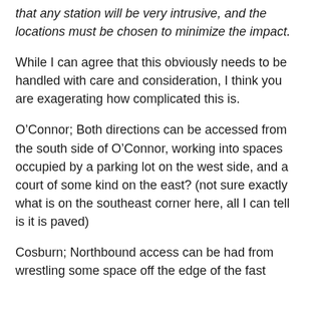that any station will be very intrusive, and the locations must be chosen to minimize the impact.
While I can agree that this obviously needs to be handled with care and consideration, I think you are exagerating how complicated this is.
O’Connor; Both directions can be accessed from the south side of O’Connor, working into spaces occupied by a parking lot on the west side, and a court of some kind on the east? (not sure exactly what is on the southeast corner here, all I can tell is it is paved)
Cosburn; Northbound access can be had from wrestling some space off the edge of the fast